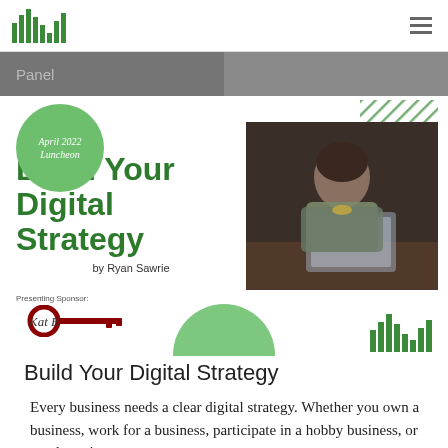[Figure (illustration): Website screenshot showing a navigation band with 'Panel' label in grey, a green circle badge reading 'April 2022 Luncheon', a photo of a business woman at a laptop, diagonal green stripes decoration, title 'Build Your Digital Strategy by Ryan Sawrie', presenting sponsor logo 'Kat B' with a key icon, a green half-circle, and a bar chart logo]
Build Your Digital Strategy
Every business needs a clear digital strategy. Whether you own a business, work for a business, participate in a hobby business, or are dreaming